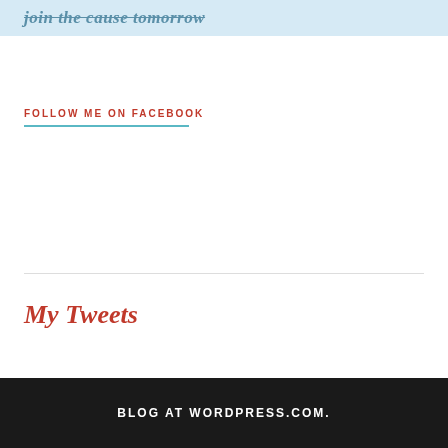join the cause tomorrow
FOLLOW ME ON FACEBOOK
My Tweets
BLOG AT WORDPRESS.COM.